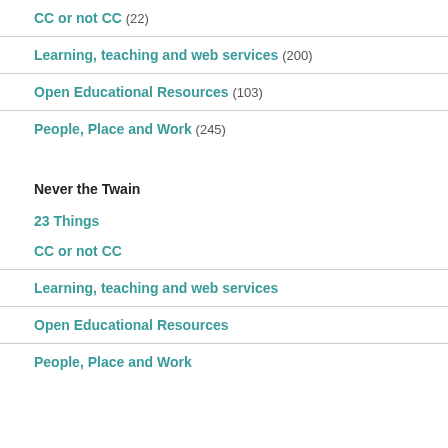CC or not CC (22)
Learning, teaching and web services (200)
Open Educational Resources (103)
People, Place and Work (245)
Never the Twain
23 Things
CC or not CC
Learning, teaching and web services
Open Educational Resources
People, Place and Work